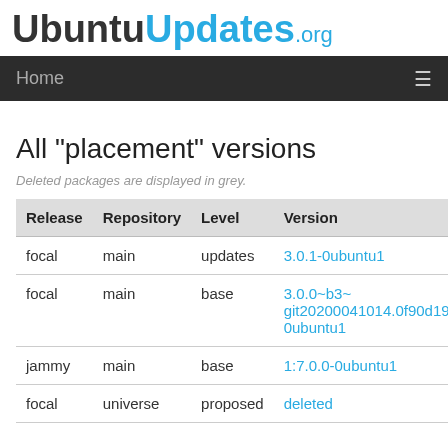UbuntuUpdates.org
All "placement" versions
Deleted packages are displayed in grey.
| Release | Repository | Level | Version |
| --- | --- | --- | --- |
| focal | main | updates | 3.0.1-0ubuntu1 |
| focal | main | base | 3.0.0~b3~git20200041014.0f90d197-0ubuntu1 |
| jammy | main | base | 1:7.0.0-0ubuntu1 |
| focal | universe | proposed | deleted |